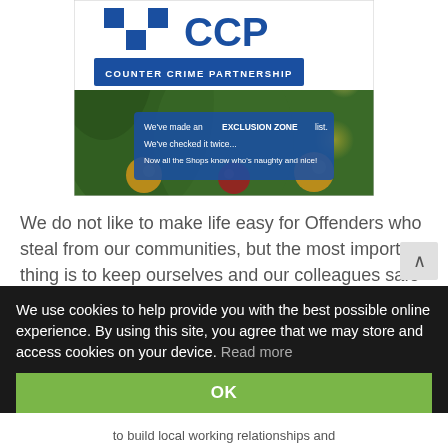[Figure (screenshot): Counter Crime Partnership (CCP) promotional image with a Christmas tree background. Shows the CCP logo (blue and white checkered squares with 'CCP' text), a blue banner reading 'COUNTER CRIME PARTNERSHIP', and an overlaid blue text box reading: "We've made an EXCLUSION ZONE list. We've checked it twice... Now all the Shops know who's naughty and nice!"]
We do not like to make life easy for Offenders who steal from our communities, but the most important thing is to keep ourselves and our colleagues safe so let's talk about DE-ESCALATION...
We use cookies to help provide you with the best possible online experience. By using this site, you agree that we may store and access cookies on your device. Read more
to build local working relationships and